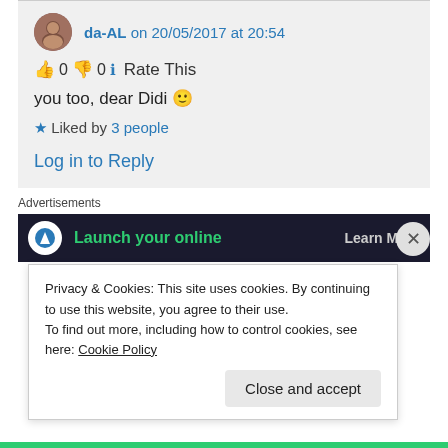da-AL on 20/05/2017 at 20:54
👍 0 👎 0 ℹ Rate This
you too, dear Didi 🙂
★ Liked by 3 people
Log in to Reply
Advertisements
[Figure (screenshot): Dark ad banner with green text 'Launch your online' and 'Learn More' text]
Privacy & Cookies: This site uses cookies. By continuing to use this website, you agree to their use. To find out more, including how to control cookies, see here: Cookie Policy
Close and accept